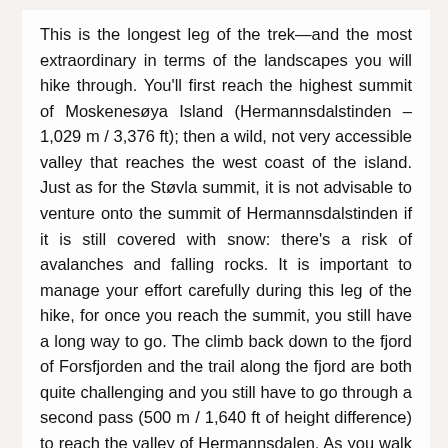This is the longest leg of the trek—and the most extraordinary in terms of the landscapes you will hike through. You'll first reach the highest summit of Moskenesøya Island (Hermannsdalstinden – 1,029 m / 3,376 ft); then a wild, not very accessible valley that reaches the west coast of the island. Just as for the Støvla summit, it is not advisable to venture onto the summit of Hermannsdalstinden if it is still covered with snow: there's a risk of avalanches and falling rocks. It is important to manage your effort carefully during this leg of the hike, for once you reach the summit, you still have a long way to go. The climb back down to the fjord of Forsfjorden and the trail along the fjord are both quite challenging and you still have to go through a second pass (500 m / 1,640 ft of height difference) to reach the valley of Hermannsdalen. As you walk along Hermannsdalsvatnet Lake, you'll reach an area of meadows between the lake and the sea. It's an ideal place to set up your bivouac, particularly on the butte of